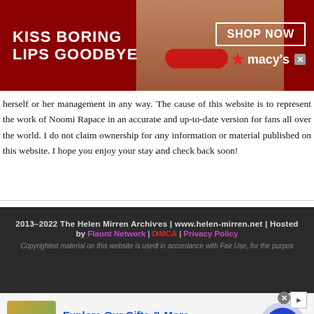[Figure (other): Macy's advertisement banner: dark red background, woman's face with red lipstick, text 'KISS BORING LIPS GOODBYE', 'SHOP NOW' button, Macy's star logo with close X]
herself or her management in any way. The cause of this website is to represent the work of Noomi Rapace in an accurate and up-to-date version for fans all over the world. I do not claim ownership for any information or material published on this website. I hope you enjoy your stay and check back soon!
2013-2022 The Helen Mirren Archives | www.helen-mirren.net | Hosted by Flaunt Network | DMCA | Privacy Policy
Copyrighted material on this website is used in accordance with Fair Use, for the purpos
[Figure (other): Advertisement: Explore Our Gifts & More. Personalized Gifts - Spa Baskets - Get Sets. www.1800flowers.com. Shows gift basket image and blue arrow circle button.]